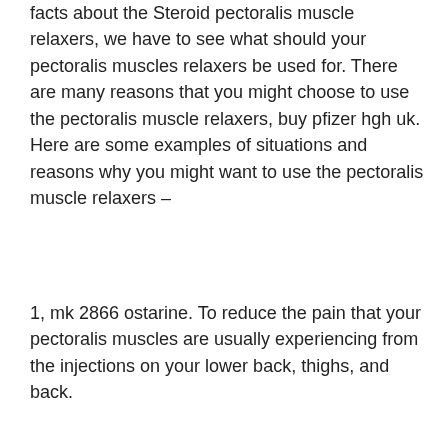facts about the Steroid pectoralis muscle relaxers, we have to see what should your pectoralis muscles relaxers be used for. There are many reasons that you might choose to use the pectoralis muscle relaxers, buy pfizer hgh uk. Here are some examples of situations and reasons why you might want to use the pectoralis muscle relaxers –
1, mk 2866 ostarine. To reduce the pain that your pectoralis muscles are usually experiencing from the injections on your lower back, thighs, and back.
2, pct for ostarine only cycle. To relieve stress for you and other people around you that you might suffer from when working on your pectoralis muscles.
3, cycle for pct ostarine only. You are thinking that you have used a lot (more